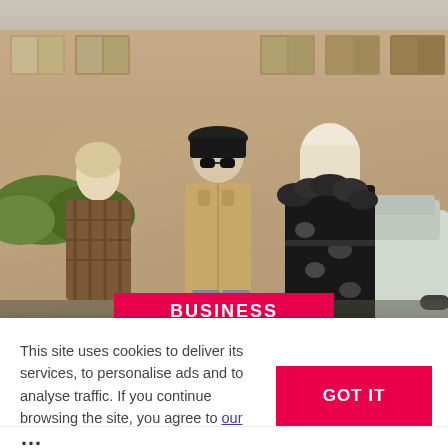[Figure (photo): Three young people standing in front of a brick residential building and a car. Left: young man with light hair wearing a brown plaid shirt. Center: person wearing a black bucket hat and sunglasses, tan jacket, checked trousers. Right: young woman with blonde hair wearing a black floral ruffle dress.]
BUSINESS
This site uses cookies to deliver its services, to personalise ads and to analyse traffic. If you continue browsing the site, you agree to our use of cookies.
GOT IT